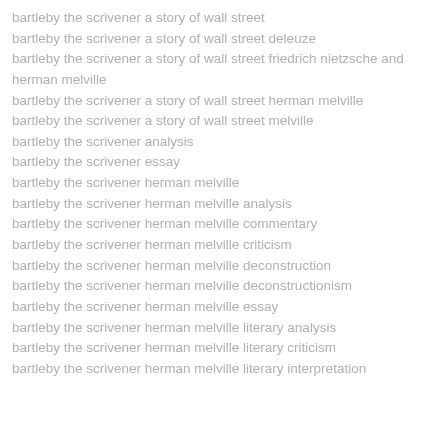bartleby the scrivener a story of wall street
bartleby the scrivener a story of wall street deleuze
bartleby the scrivener a story of wall street friedrich nietzsche and herman melville
bartleby the scrivener a story of wall street herman melville
bartleby the scrivener a story of wall street melville
bartleby the scrivener analysis
bartleby the scrivener essay
bartleby the scrivener herman melville
bartleby the scrivener herman melville analysis
bartleby the scrivener herman melville commentary
bartleby the scrivener herman melville criticism
bartleby the scrivener herman melville deconstruction
bartleby the scrivener herman melville deconstructionism
bartleby the scrivener herman melville essay
bartleby the scrivener herman melville literary analysis
bartleby the scrivener herman melville literary criticism
bartleby the scrivener herman melville literary interpretation